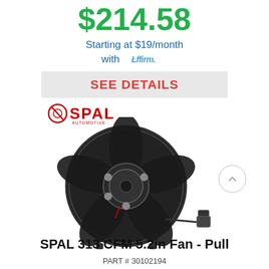$214.58
Starting at $19/month with Affirm.
SEE DETAILS
[Figure (logo): SPAL Automotive logo with red circle/slash icon and red bold SPAL text with small AUTOMOTIVE beneath]
[Figure (photo): SPAL 5.2in cooling fan product photo showing black fan with motor in center, 5 blades, mounting bracket, and wiring connector visible on right side]
SPAL 313 CFM 5.2in Fan - Pull
PART # 30102194